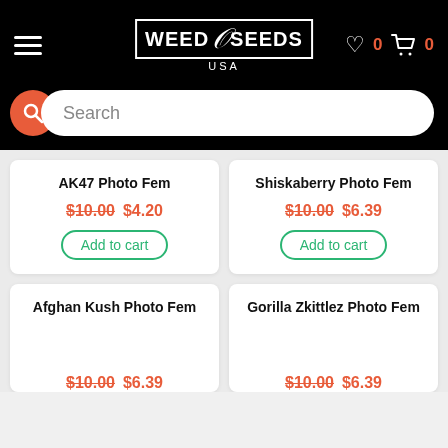[Figure (screenshot): Mobile e-commerce app header with hamburger menu, Weed Seeds USA logo, heart icon with 0 count, cart icon with 0 count, all on black background]
[Figure (screenshot): Search bar with red circle search icon and white rounded input field with placeholder text 'Search']
AK47 Photo Fem
$10.00  $4.20
Add to cart
Shiskaberry Photo Fem
$10.00  $6.39
Add to cart
Afghan Kush Photo Fem
$10.00  $6.39
Gorilla Zkittlez Photo Fem
$10.00  $6.39